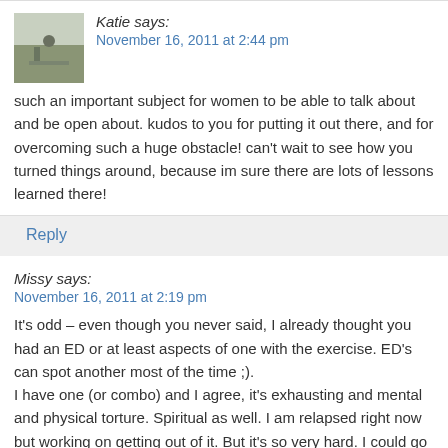Katie says:
November 16, 2011 at 2:44 pm
such an important subject for women to be able to talk about and be open about. kudos to you for putting it out there, and for overcoming such a huge obstacle! can't wait to see how you turned things around, because im sure there are lots of lessons learned there!
Reply
Missy says:
November 16, 2011 at 2:19 pm
It's odd – even though you never said, I already thought you had an ED or at least aspects of one with the exercise. ED's can spot another most of the time ;). I have one (or combo) and I agree, it's exhausting and mental and physical torture. Spiritual as well. I am relapsed right now but working on getting out of it. But it's so very hard. I could go on for days, but I won't. I am just